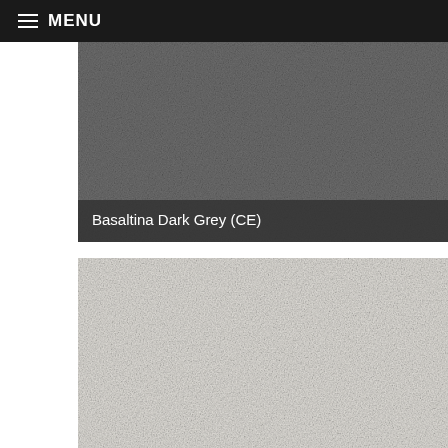MENU
[Figure (photo): Basaltina Dark Grey (CE) stone texture — dark grey granulated surface with a semi-transparent dark label bar at the bottom showing the product name.]
Basaltina Dark Grey (CE)
[Figure (photo): Light grey / off-white stone texture — pale, fine-grained surface, partially cropped at the bottom.]